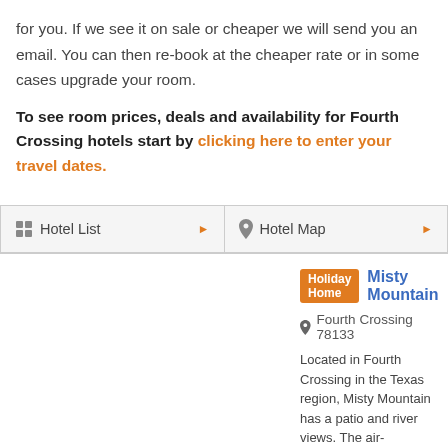for you. If we see it on sale or cheaper we will send you an email. You can then re-book at the cheaper rate or in some cases upgrade your room.
To see room prices, deals and availability for Fourth Crossing hotels start by clicking here to enter your travel dates.
Hotel List
Hotel Map
Holiday Home  Misty Mountain
Fourth Crossing 78133
Located in Fourth Crossing in the Texas region, Misty Mountain has a patio and river views. The air-conditioned accommodation is 17 km from